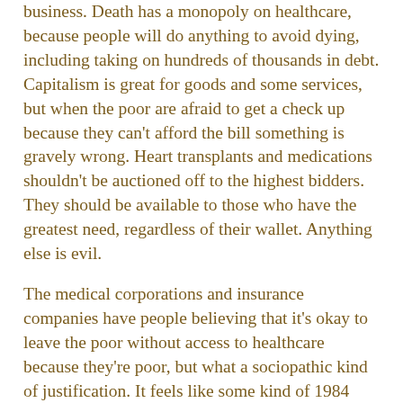business. Death has a monopoly on healthcare, because people will do anything to avoid dying, including taking on hundreds of thousands in debt. Capitalism is great for goods and some services, but when the poor are afraid to get a check up because they can't afford the bill something is gravely wrong. Heart transplants and medications shouldn't be auctioned off to the highest bidders. They should be available to those who have the greatest need, regardless of their wallet. Anything else is evil.
The medical corporations and insurance companies have people believing that it's okay to leave the poor without access to healthcare because they're poor, but what a sociopathic kind of justification. It feels like some kind of 1984 doublethink. It's just following the piper playing the tune of the almighty dollar. Forget the golden calf, it's cutting out the calf altogether and just worshiping the gold. It's wrong. Christian conservatives seem to beat this drum the loudest, but that's not what Jesus would do. Jesus wasn't only healing the wealthy lepers. He threw the merchants out of the temple. He'd be throwing the insurance lobbyists out of congress. He'd be throwing the politicians who have failed